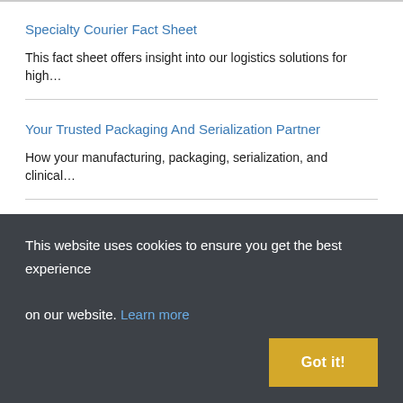Specialty Courier Fact Sheet
This fact sheet offers insight into our logistics solutions for high…
Your Trusted Packaging And Serialization Partner
How your manufacturing, packaging, serialization, and clinical…
Quick To Care™ Advanced Therapies
This website uses cookies to ensure you get the best experience on our website. Learn more